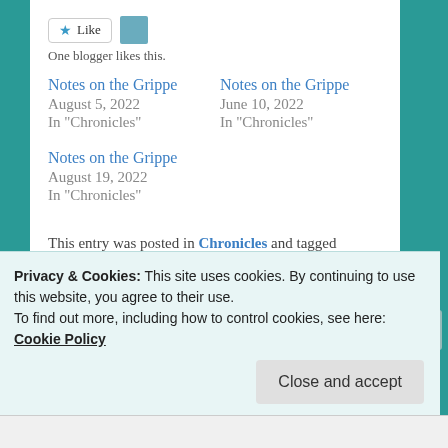[Figure (other): Like button with star icon and user avatar thumbnail]
One blogger likes this.
Notes on the Grippe
August 5, 2022
In "Chronicles"
Notes on the Grippe
June 10, 2022
In "Chronicles"
Notes on the Grippe
August 19, 2022
In "Chronicles"
This entry was posted in Chronicles and tagged grippe, notes, pandemic by Clint. Bookmark the permalink.
Privacy & Cookies: This site uses cookies. By continuing to use this website, you agree to their use.
To find out more, including how to control cookies, see here:
Cookie Policy
Close and accept